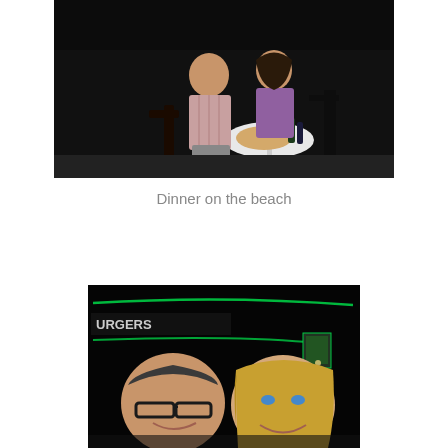[Figure (photo): Two people sitting at a small round white table outdoors at night, on a beach or patio. A man in a plaid shirt and a woman in a purple top are posed together, with food and drinks on the table.]
Dinner on the beach
[Figure (photo): A selfie-style photo of a man with glasses and a woman with blonde hair smiling at night, with a business sign with green neon lights reading 'BURGERS' in the background.]